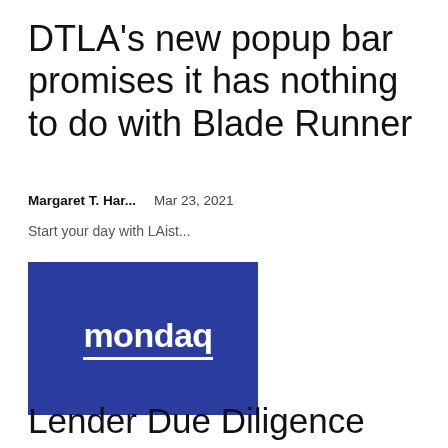DTLA's new popup bar promises it has nothing to do with Blade Runner
Margaret T. Har...   Mar 23, 2021
Start your day with LAist...
[Figure (logo): Mondaq logo — white bold text 'mondaq' with underline on dark blue background]
Lender Due Diligence “Know Your Customer” – Compliance